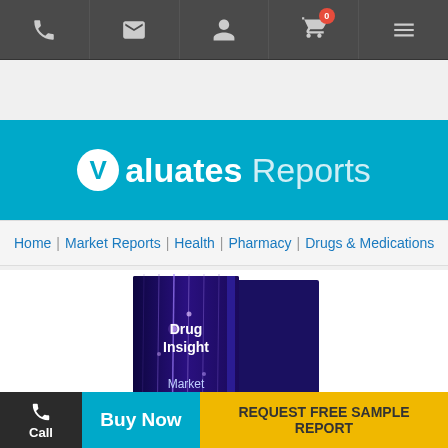[Figure (screenshot): Website navigation top bar with phone, email, user, cart (badge 0), and menu icons on dark gray background]
[Figure (logo): Valuates Reports logo on cyan/teal blue background with white circular V logo and brand name]
Find Industry and Company Market Research
Home | Market Reports | Health | Pharmacy | Drugs & Medications
[Figure (illustration): Drug Insight Market Research Report book cover with dark blue/purple background and glowing light streaks]
Call
Buy Now
REQUEST FREE SAMPLE REPORT